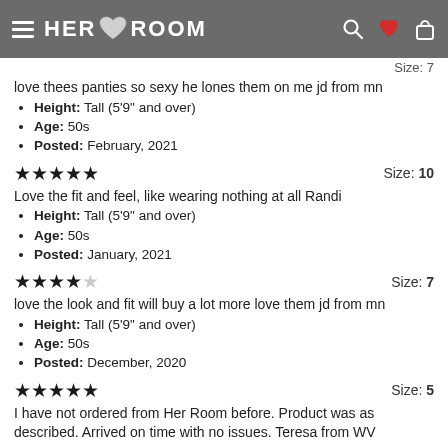HER ROOM
Size: 7
love thees panties so sexy he lones them on me jd from mn
Height: Tall (5'9" and over)
Age: 50s
Posted: February, 2021
★★★★★  Size: 10
Love the fit and feel, like wearing nothing at all Randi
Height: Tall (5'9" and over)
Age: 50s
Posted: January, 2021
★★★★☆  Size: 7
love the look and fit will buy a lot more love them jd from mn
Height: Tall (5'9" and over)
Age: 50s
Posted: December, 2020
★★★★★  Size: 5
I have not ordered from Her Room before. Product was as described. Arrived on time with no issues. Teresa from WV